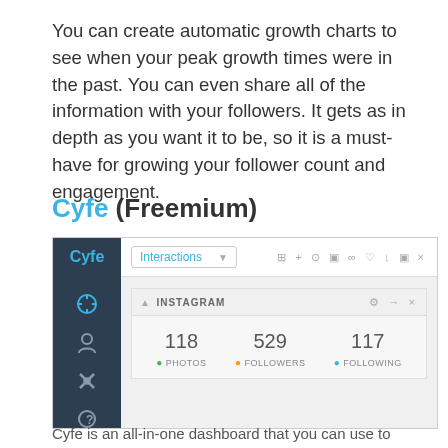You can create automatic growth charts to see when your peak growth times were in the past. You can even share all of the information with your followers. It gets as in depth as you want it to be, so it is a must-have for growing your follower count and engagement.
Cyfe (Freemium)
[Figure (screenshot): Screenshot of Cyfe dashboard showing an Instagram widget with stats: 118 Photos, 529 Followers, 117 Following. The left sidebar shows the Cyfe logo and navigation icons. The top toolbar shows an 'Interactions' dropdown.]
Cyfe is an all-in-one dashboard that you can use to